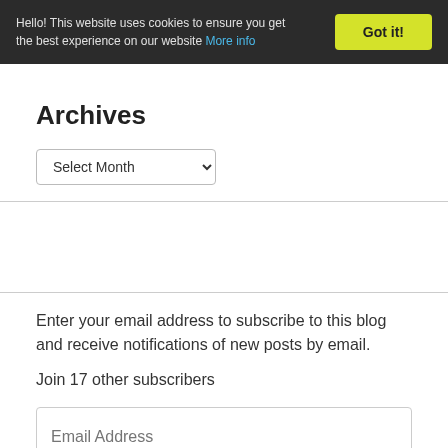Hello! This website uses cookies to ensure you get the best experience on our website More info
Got it!
Archives
Select Month
Enter your email address to subscribe to this blog and receive notifications of new posts by email.
Join 17 other subscribers
Email Address
SUBSCRIBE